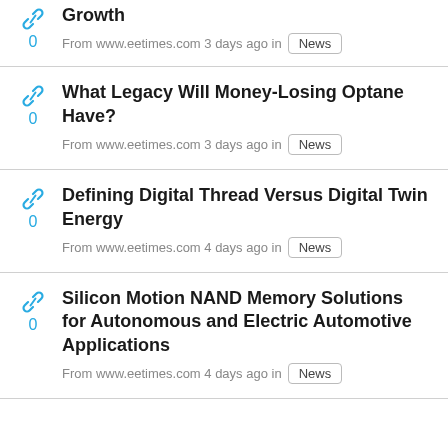Growth
From www.eetimes.com 3 days ago in News
What Legacy Will Money-Losing Optane Have?
From www.eetimes.com 3 days ago in News
Defining Digital Thread Versus Digital Twin Energy
From www.eetimes.com 4 days ago in News
Silicon Motion NAND Memory Solutions for Autonomous and Electric Automotive Applications
From www.eetimes.com 4 days ago in News